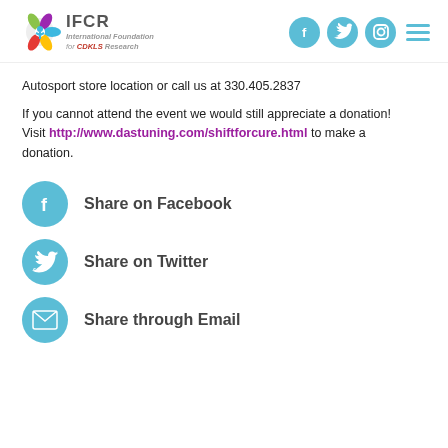IFCR International Foundation for CDKLS Research
Autosport store location or call us at 330.405.2837
If you cannot attend the event we would still appreciate a donation! Visit http://www.dastuning.com/shiftforcure.html to make a donation.
Share on Facebook
Share on Twitter
Share through Email